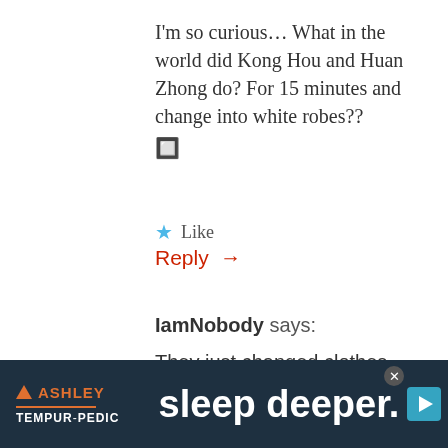I'm so curious... What in the world did Kong Hou and Huan Zhong do? For 15 minutes and change into white robes?? 🔲
★ Like
Reply →
IamNobody says:
They just changed clothes, that's all. Lol Just like changing into ordinary clothes after sneakily going to a party
[Figure (screenshot): Ashley Furniture and Tempur-Pedic advertisement banner with dark teal background. Shows Ashley logo with orange triangle, Tempur-Pedic text in white, and large white text 'sleep deeper.' with a play/video button icon in top-right corner and a close button.]